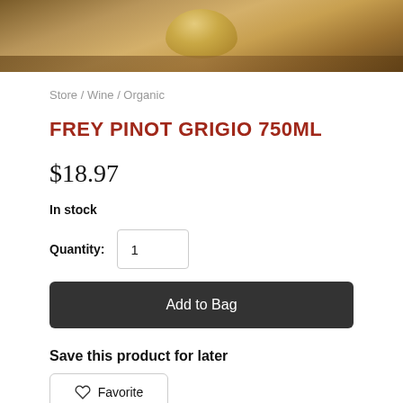[Figure (photo): Product photo showing a wine glass or bottle on a wooden surface with warm brown tones]
Store / Wine / Organic
FREY PINOT GRIGIO 750ML
$18.97
In stock
Quantity: 1
Add to Bag
Save this product for later
Favorite